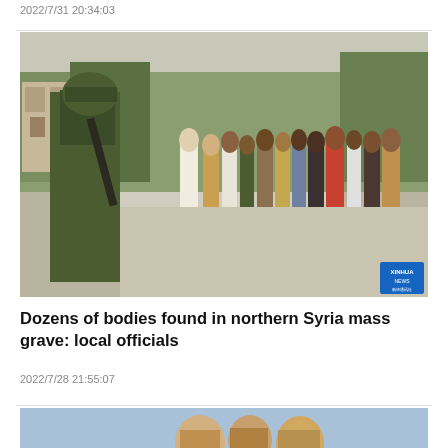2022/7/31 20:34:03
[Figure (photo): Armed soldier in camouflage uniform holding a rifle, standing on a road while a group of people walk in line behind him. Trees and a building visible in background. Xinhua News watermark in bottom right.]
Dozens of bodies found in northern Syria mass grave: local officials
2022/7/28 21:55:07
[Figure (photo): Partial view of bottom image, showing people against a light blue background, partially cut off.]